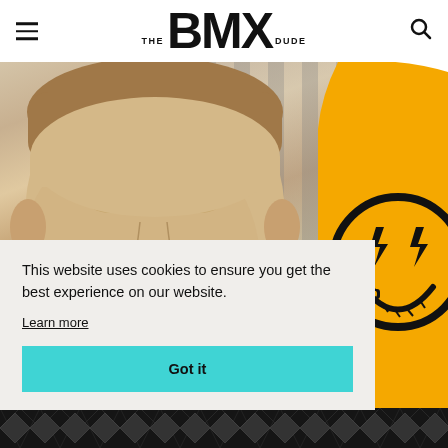THE BMX DUDE
[Figure (photo): Website screenshot showing The BMX Dude website header with hamburger menu, THE BMX DUDE logo, and search icon. Below the header is a photo of a smiling man with an orange grunge/smiley face graphic on the right side. A cookie consent banner overlays the bottom portion with 'Got it' button.]
This website uses cookies to ensure you get the best experience on our website.
Learn more
Got it